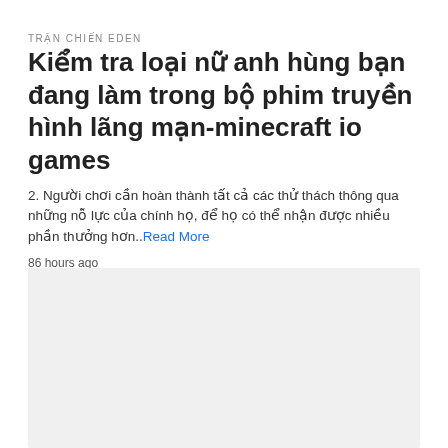TRẬN CHIẾN EDEN
Kiểm tra loại nữ anh hùng bạn đang làm trong bộ phim truyền hình lãng mạn-minecraft io games
2. Người chơi cần hoàn thành tất cả các thử thách thông qua những nỗ lực của chính họ, để họ có thể nhận được nhiều phần thưởng hơn..Read More
86 hours ago
[Figure (other): Gray placeholder box for an image or advertisement]